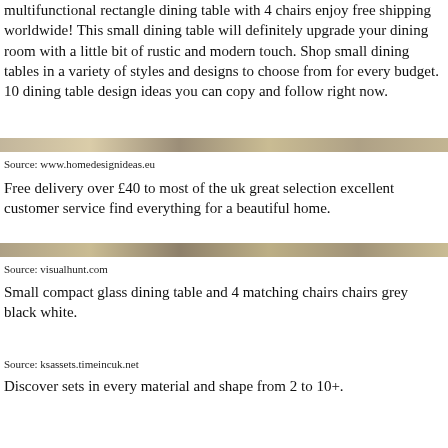multifunctional rectangle dining table with 4 chairs enjoy free shipping worldwide! This small dining table will definitely upgrade your dining room with a little bit of rustic and modern touch. Shop small dining tables in a variety of styles and designs to choose from for every budget. 10 dining table design ideas you can copy and follow right now.
[Figure (photo): Horizontal decorative divider image showing a dining table surface, golden/brown tones]
Source: www.homedesignideas.eu
Free delivery over £40 to most of the uk great selection excellent customer service find everything for a beautiful home.
[Figure (photo): Horizontal decorative divider image showing a dining table surface, golden/brown tones]
Source: visualhunt.com
Small compact glass dining table and 4 matching chairs chairs grey black white.
Source: ksassets.timeincuk.net
Discover sets in every material and shape from 2 to 10+.